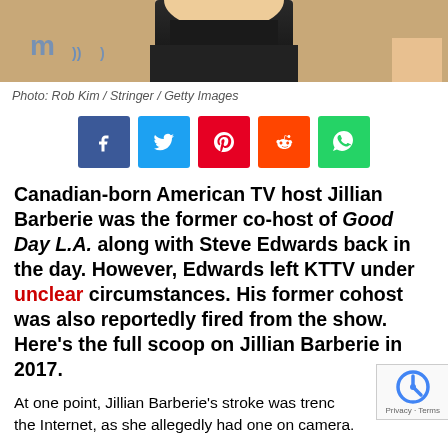[Figure (photo): Cropped photo of a woman in a black outfit, showing shoulders and chest area, with blonde hair]
Photo: Rob Kim / Stringer / Getty Images
[Figure (infographic): Social media share buttons: Facebook (blue), Twitter (light blue), Pinterest (red), Reddit (orange), WhatsApp (green)]
Canadian-born American TV host Jillian Barberie was the former co-host of Good Day L.A. along with Steve Edwards back in the day. However, Edwards left KTTV under unclear circumstances. His former cohost was also reportedly fired from the show. Here’s the full scoop on Jillian Barberie in 2017.
At one point, Jillian Barberie’s stroke was trending on the Internet, as she allegedly had one on camera.